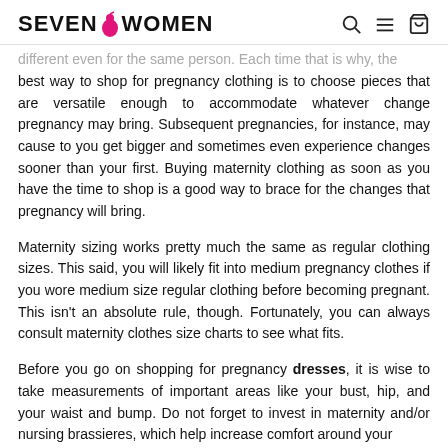SEVEN WOMEN
different even for the same person. Each time that is why, the best way to shop for pregnancy clothing is to choose pieces that are versatile enough to accommodate whatever change pregnancy may bring. Subsequent pregnancies, for instance, may cause to you get bigger and sometimes even experience changes sooner than your first. Buying maternity clothing as soon as you have the time to shop is a good way to brace for the changes that pregnancy will bring.
Maternity sizing works pretty much the same as regular clothing sizes. This said, you will likely fit into medium pregnancy clothes if you wore medium size regular clothing before becoming pregnant. This isn't an absolute rule, though. Fortunately, you can always consult maternity clothes size charts to see what fits.
Before you go on shopping for pregnancy dresses, it is wise to take measurements of important areas like your bust, hip, and your waist and bump. Do not forget to invest in maternity and/or nursing brassieres, which help increase comfort around your chest and provide the necessary support during pregnancy.